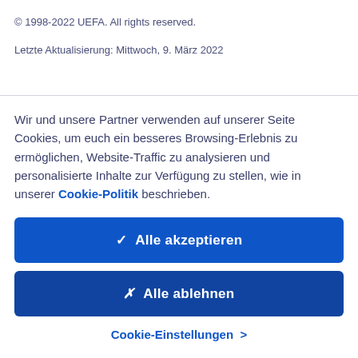© 1998-2022 UEFA. All rights reserved.
Letzte Aktualisierung: Mittwoch, 9. März 2022
Wir und unsere Partner verwenden auf unserer Seite Cookies, um euch ein besseres Browsing-Erlebnis zu ermöglichen, Website-Traffic zu analysieren und personalisierte Inhalte zur Verfügung zu stellen, wie in unserer Cookie-Politik beschrieben.
✓  Alle akzeptieren
✗  Alle ablehnen
Cookie-Einstellungen  >